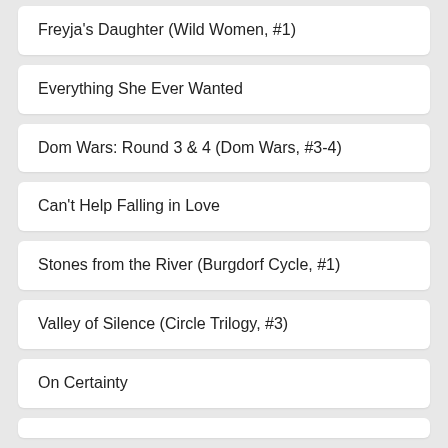Freyja's Daughter (Wild Women, #1)
Everything She Ever Wanted
Dom Wars: Round 3 & 4 (Dom Wars, #3-4)
Can't Help Falling in Love
Stones from the River (Burgdorf Cycle, #1)
Valley of Silence (Circle Trilogy, #3)
On Certainty